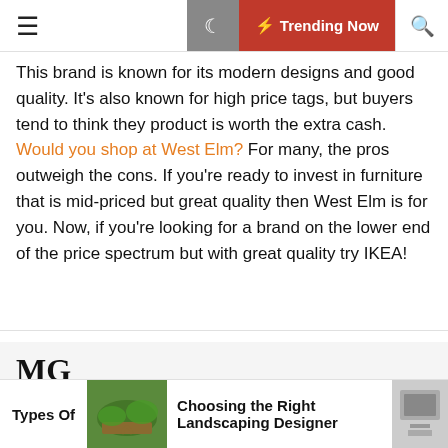☰  🌙  ⚡ Trending Now  🔍
This brand is known for its modern designs and good quality. It's also known for high price tags, but buyers tend to think they product is worth the extra cash. Would you shop at West Elm? For many, the pros outweigh the cons. If you're ready to invest in furniture that is mid-priced but great quality then West Elm is for you. Now, if you're looking for a brand on the lower end of the price spectrum but with great quality try IKEA!
MG
Xem trực tiếp bóng đá với những trận đấu hấp dẫn nhất, nơi chúng tôi cập nhật tỷ số nhanh chóng và chính xác nhất , bạn có thể đặt lịch trận trong các chúng tôi để không bỏ lỡ những trận
Types Of   Choosing the Right Landscaping Designer